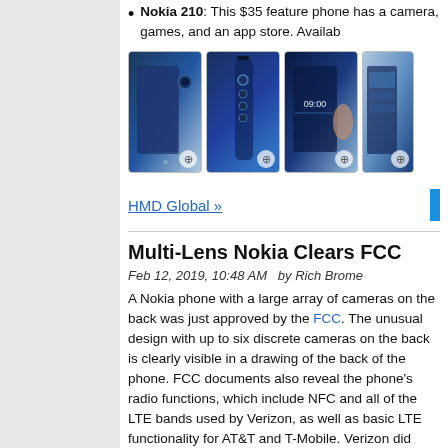Nokia 210: This $35 feature phone has a camera, games, and an app store. Available...
[Figure (photo): Four Nokia smartphone product photos showing front and back views of Nokia phones in blue color, with zoom icons visible on each image.]
HMD Global »
Multi-Lens Nokia Clears FCC
Feb 12, 2019, 10:48 AM   by Rich Brome
A Nokia phone with a large array of cameras on the back was just approved by the FCC. The unusual design with up to six discrete cameras on the back is clearly visible in a drawing of the back of the phone. FCC documents also reveal the phone's radio functions, which include NFC and all of the LTE bands used by Verizon, as well as basic LTE functionality for AT&T and T-Mobile. Verizon did recently launch its first Nokia